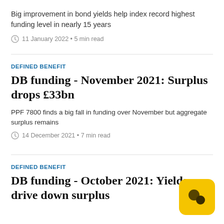Big improvement in bond yields help index record highest funding level in nearly 15 years
11 January 2022 • 5 min read
DEFINED BENEFIT
DB funding - November 2021: Surplus drops £33bn
PPF 7800 finds a big fall in funding over November but aggregate surplus remains
14 December 2021 • 7 min read
DEFINED BENEFIT
DB funding - October 2021: Yields drive down surplus